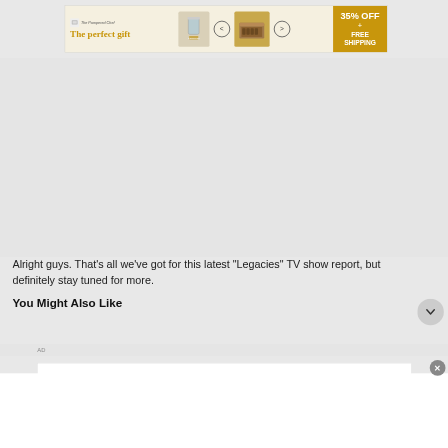[Figure (screenshot): Advertisement banner: 'The perfect gift' with product images, navigation arrows, and '35% OFF + FREE SHIPPING' call to action button in gold/mustard color]
Alright guys. That’s all we’ve got for this latest “Legacies” TV show report, but definitely stay tuned for more.
You Might Also Like
[Figure (screenshot): AD label and partial white advertisement box with close (X) button]